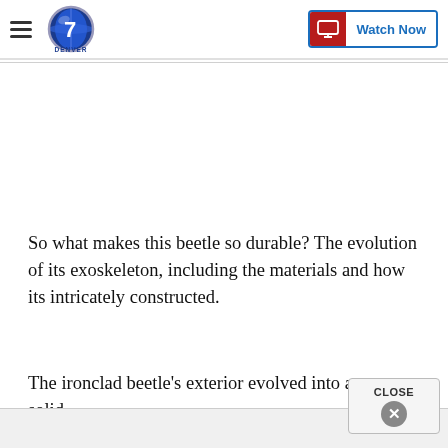Denver7 — Watch Now
So what makes this beetle so durable? The evolution of its exoskeleton, including the materials and how its intricately constructed.
The ironclad beetle's exterior evolved into a solid,